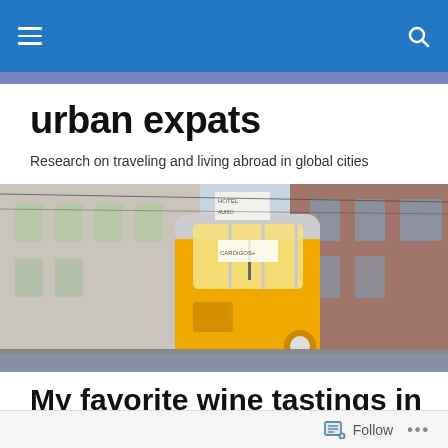urban expats — navigation bar with hamburger menu and search icon
urban expats
Research on traveling and living abroad in global cities
[Figure (photo): A yellow tram/funicular car on a narrow urban street with old European buildings on either side. A hotel sign is visible in the background.]
My favorite wine tastings in Buenos Aires
Follow   ...